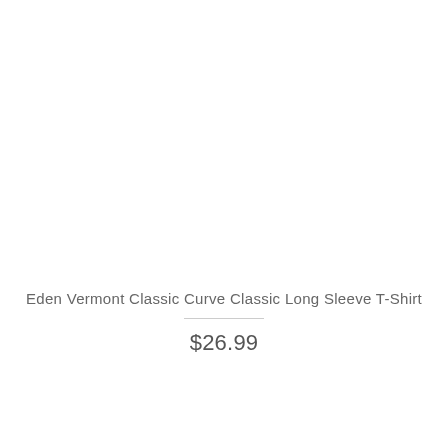Eden Vermont Classic Curve Classic Long Sleeve T-Shirt
$26.99